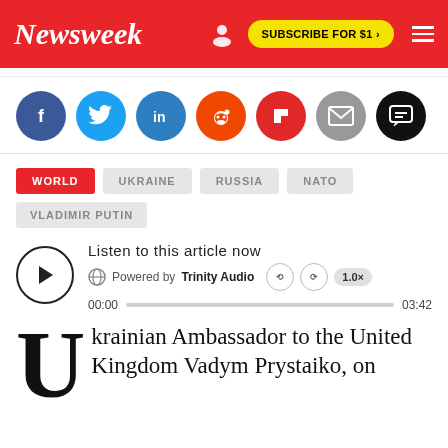Newsweek
[Figure (infographic): Social share icons row: Facebook (dark blue), Twitter (light blue), LinkedIn (blue), Reddit (orange), Flipboard (red), Email (gray), Comments (black)]
WORLD
UKRAINE
RUSSIA
NATO
VLADIMIR PUTIN
[Figure (infographic): Audio player widget: play button, 'Listen to this article now', Powered by Trinity Audio, time 00:00 / 03:42]
Ukrainian Ambassador to the United Kingdom Vadym Prystaiko, on